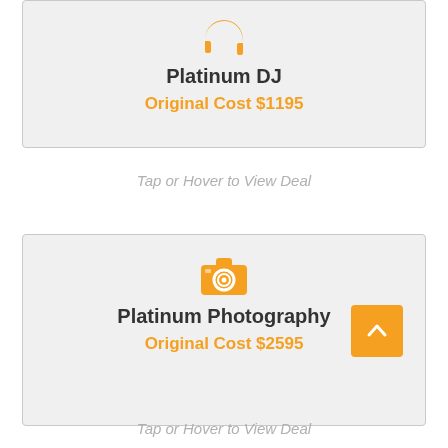[Figure (infographic): Orange headphones icon above Platinum DJ card]
Platinum DJ
Original Cost $1195
Tap or Hover to View Deal
[Figure (infographic): Orange camera icon above Platinum Photography card]
Platinum Photography
Original Cost $2595
Tap or Hover to View Deal